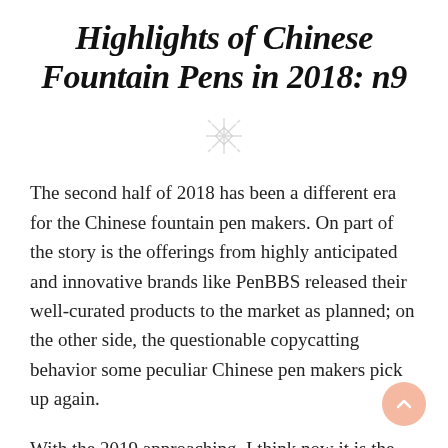Highlights of Chinese Fountain Pens in 2018: n9
[Figure (illustration): Decorative star/asterisk divider symbol in light gray]
The second half of 2018 has been a different era for the Chinese fountain pen makers. On part of the story is the offerings from highly anticipated and innovative brands like PenBBS released their well-curated products to the market as planned; on the other side, the questionable copycatting behavior some peculiar Chinese pen makers pick up again.
With the 2019 approaching, I think now it is the